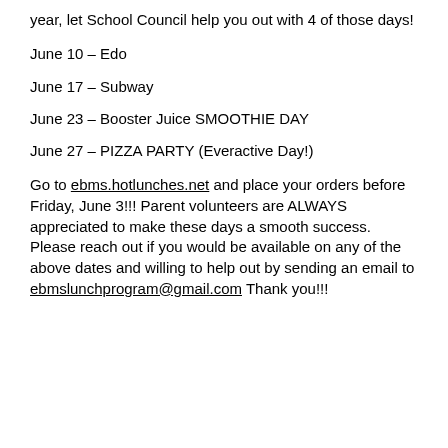year, let School Council help you out with 4 of those days!
June 10 – Edo
June 17 – Subway
June 23 – Booster Juice SMOOTHIE DAY
June 27 – PIZZA PARTY (Everactive Day!)
Go to ebms.hotlunches.net and place your orders before Friday, June 3!!! Parent volunteers are ALWAYS appreciated to make these days a smooth success. Please reach out if you would be available on any of the above dates and willing to help out by sending an email to ebmslunchprogram@gmail.com Thank you!!!